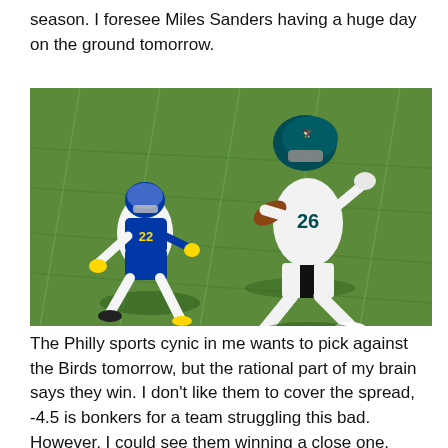season. I foresee Miles Sanders having a huge day on the ground tomorrow.
[Figure (photo): Philadelphia Eagles running back #26 (Miles Sanders) in teal uniform carrying the football, evading a Los Angeles Rams defender #22 (Hill) in blue and yellow uniform on a green turf football field.]
The Philly sports cynic in me wants to pick against the Birds tomorrow, but the rational part of my brain says they win. I don't like them to cover the spread, -4.5 is bonkers for a team struggling this bad. However, I could see them winning a close one.